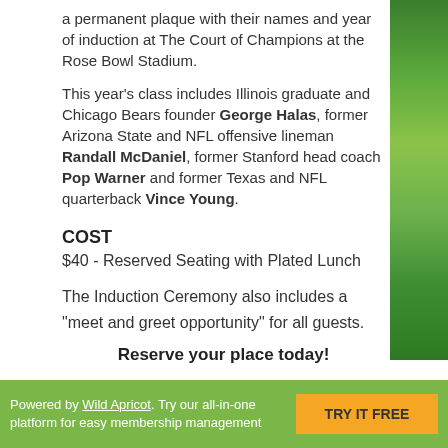a permanent plaque with their names and year of induction at The Court of Champions at the Rose Bowl Stadium.
This year's class includes Illinois graduate and Chicago Bears founder George Halas, former Arizona State and NFL offensive lineman Randall McDaniel, former Stanford head coach Pop Warner and former Texas and NFL quarterback Vince Young.
COST
$40 - Reserved Seating with Plated Lunch
The Induction Ceremony also includes a "meet and greet opportunity" for all guests.
Reserve your place today!
Powered by Wild Apricot. Try our all-in-one platform for easy membership management   TRY IT FREE